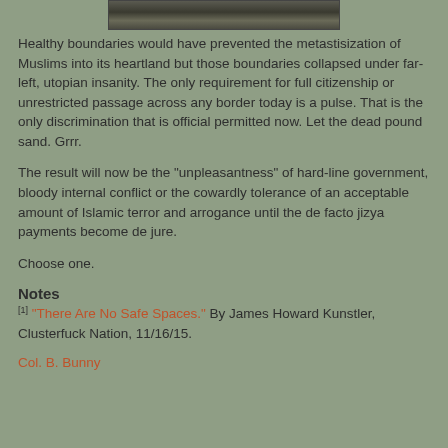[Figure (photo): Partial photo strip at top of page showing people outdoors]
Healthy boundaries would have prevented the metastisization of Muslims into its heartland but those boundaries collapsed under far-left, utopian insanity. The only requirement for full citizenship or unrestricted passage across any border today is a pulse. That is the only discrimination that is official permitted now. Let the dead pound sand. Grrr.
The result will now be the "unpleasantness" of hard-line government, bloody internal conflict or the cowardly tolerance of an acceptable amount of Islamic terror and arrogance until the de facto jizya payments become de jure.
Choose one.
Notes
[1] "There Are No Safe Spaces." By James Howard Kunstler, Clusterfuck Nation, 11/16/15.
Col. B. Bunny